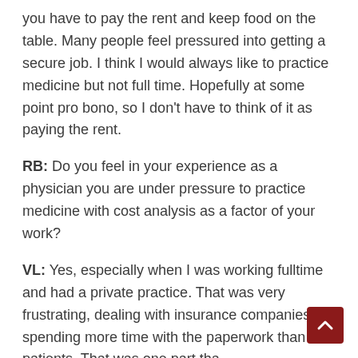you have to pay the rent and keep food on the table. Many people feel pressured into getting a secure job. I think I would always like to practice medicine but not full time. Hopefully at some point pro bono, so I don't have to think of it as paying the rent.
RB: Do you feel in your experience as a physician you are under pressure to practice medicine with cost analysis as a factor of your work?
VL: Yes, especially when I was working fulltime and had a private practice. That was very frustrating, dealing with insurance companies, spending more time with the paperwork than with patients. That was one part that really hated.